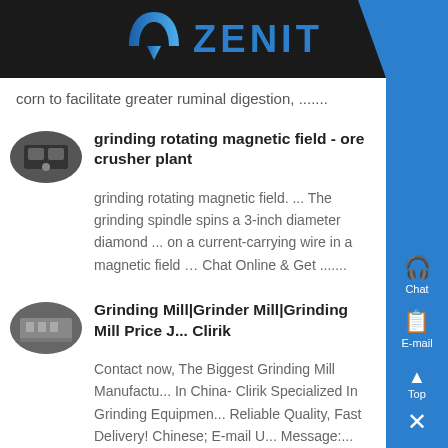[Figure (logo): Zenit company logo with blue arrow-arch icon and blue ZENIT text on dark background]
corn to facilitate greater ruminal digestion, .......
[Figure (photo): Thumbnail of ore crusher plant equipment]
grinding rotating magnetic field - ore crusher plant
grinding rotating magnetic field. ... The grinding spindle spins a 3-inch diameter diamond ... on a current-carrying wire in a magnetic field … Chat Online & Get .......
[Figure (photo): Thumbnail of grinding mill machinery]
Grinding Mill|Grinder Mill|Grinding Mill Price J... Clirik
Contact now, The Biggest Grinding Mill Manufactu... In China- Clirik Specialized In Grinding Equipmen... Reliable Quality, Fast Delivery! Chinese; E-mail U... Message:...